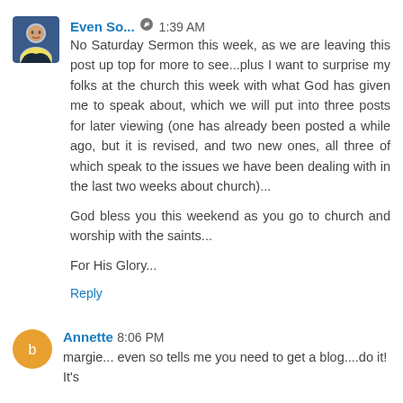Even So... 🖊 1:39 AM
No Saturday Sermon this week, as we are leaving this post up top for more to see...plus I want to surprise my folks at the church this week with what God has given me to speak about, which we will put into three posts for later viewing (one has already been posted a while ago, but it is revised, and two new ones, all three of which speak to the issues we have been dealing with in the last two weeks about church)...

God bless you this weekend as you go to church and worship with the saints...

For His Glory...
Reply
Annette 8:06 PM
margie... even so tells me you need to get a blog....do it! It's